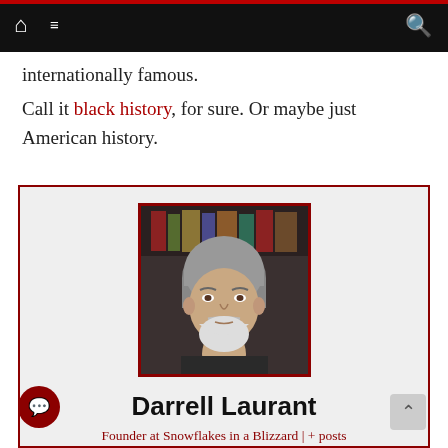Navigation bar with home, menu, and search icons
internationally famous.
Call it black history, for sure. Or maybe just American history.
[Figure (photo): Author profile photo of Darrell Laurant, an older man with gray hair and white beard, seated in front of bookshelves]
Darrell Laurant
Founder at Snowflakes in a Blizzard | + posts